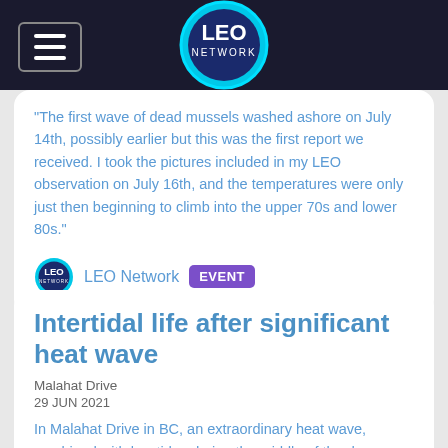LEO Network
"The first wave of dead mussels washed ashore on July 14th, possibly earlier but this was the first report we received. I took the pictures included in my LEO observation on July 16th, and the temperatures were only just then beginning to climb into the upper 70s and lower 80s."
LEO Network EVENT
Intertidal life after significant heat wave
Malahat Drive
29 JUN 2021
In Malahat Drive in BC, an extraordinary heat wave, combined with low tides during the middle of the day resulted in the die off of possibly billions of intertidal invertebrates along the coast of British Columbia and Washington State.